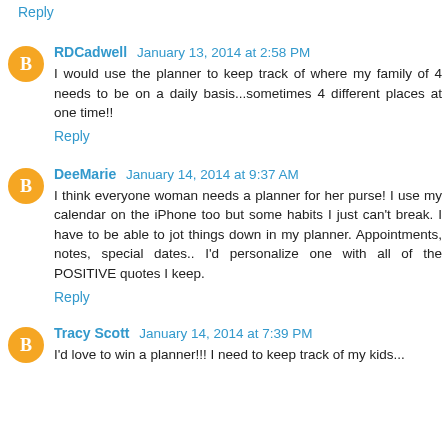Reply
RDCadwell  January 13, 2014 at 2:58 PM
I would use the planner to keep track of where my family of 4 needs to be on a daily basis...sometimes 4 different places at one time!!
Reply
DeeMarie  January 14, 2014 at 9:37 AM
I think everyone woman needs a planner for her purse! I use my calendar on the iPhone too but some habits I just can't break. I have to be able to jot things down in my planner. Appointments, notes, special dates.. I'd personalize one with all of the POSITIVE quotes I keep.
Reply
Tracy Scott  January 14, 2014 at 7:39 PM
I'd love to win a planner!!! I need to keep track of my kids...